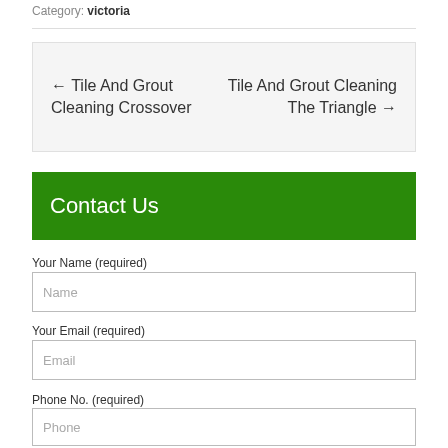Category: victoria
← Tile And Grout Cleaning Crossover    Tile And Grout Cleaning The Triangle →
Contact Us
Your Name (required)
Name
Your Email (required)
Email
Phone No. (required)
Phone